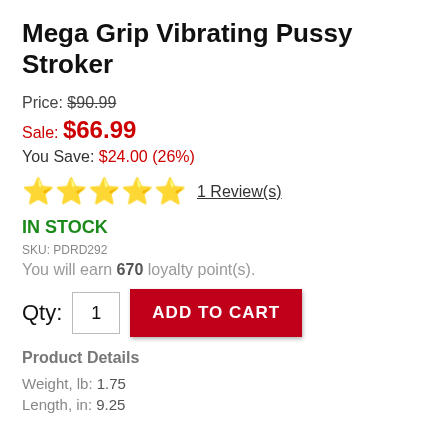Mega Grip Vibrating Pussy Stroker
Price: $90.99
Sale: $66.99
You Save: $24.00 (26%)
★★★★★ 1 Review(s)
IN STOCK
SKU: PDRD292
You will earn 670 loyalty point(s).
Qty: 1  ADD TO CART
Product Details
Weight, lb: 1.75
Length, in: 9.25